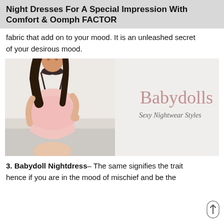Night Dresses For A Special Impression With Comfort & Oomph FACTOR
fabric that add on to your mood. It is an unleashed secret of your desirous mood.
[Figure (photo): A woman wearing a pink lace babydoll nightdress with dark straps, posed against a light background. Text overlay reads 'Babydolls' and 'Sexy Nightwear Styles'.]
3. Babydoll Nightdress– The same signifies the trait hence if you are in the mood of mischief and be the